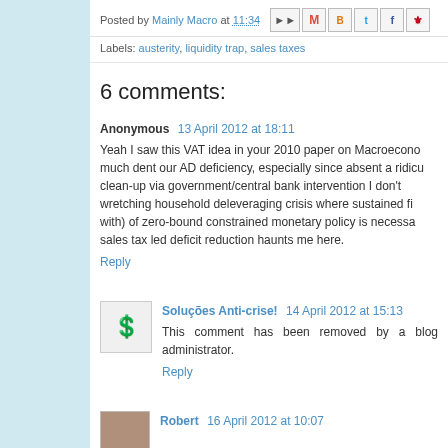Posted by Mainly Macro at 11:34
Labels: austerity, liquidity trap, sales taxes
6 comments:
Anonymous  13 April 2012 at 18:11
Yeah I saw this VAT idea in your 2010 paper on Macroeconomo... much dent our AD deficiency, especially since absent a ridic... clean-up via government/central bank intervention I don't... wretching household deleveraging crisis where sustained fi... with) of zero-bound constrained monetary policy is neces... sales tax led deficit reduction haunts me here.
Reply
Soluções Anti-crise!  14 April 2012 at 15:13
This comment has been removed by a blog administrator.
Reply
Robert  16 April 2012 at 10:07